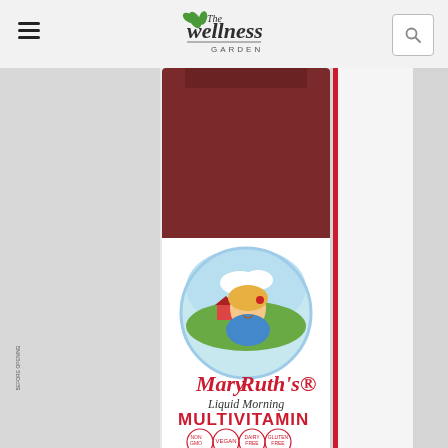The Wellness Garden
[Figure (photo): MaryRuth's Liquid Morning Multivitamin raspberry flavor bottle product photo showing the label with a woman illustration, 'MADE FOR ENERGY | BEAUTY | IMMUNITY', NON GMO, VEGAN, DAIRY FREE, GLUTEN FREE, SOY FREE, ZERO SUGAR, ZERO FAT badges, and Raspberry text at the bottom.]